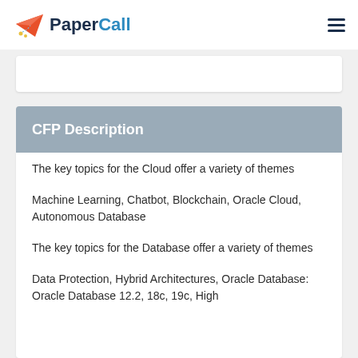PaperCall
CFP Description
The key topics for the Cloud offer a variety of themes
Machine Learning, Chatbot, Blockchain, Oracle Cloud, Autonomous Database
The key topics for the Database offer a variety of themes
Data Protection, Hybrid Architectures, Oracle Database: Oracle Database 12.2, 18c, 19c, High